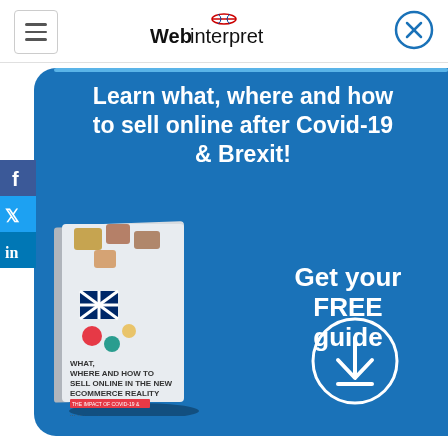Webinterpret
Learn what, where and how to sell online after Covid-19 & Brexit!
[Figure (photo): Book cover titled 'WHAT, WHERE AND HOW TO SELL ONLINE IN THE NEW ECOMMERCE REALITY' with puzzle pieces, British flag, and WebInterpret branding]
Get your FREE guide